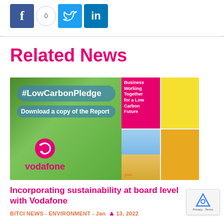[Figure (other): Social media share buttons: Facebook (blue), count badge showing 0, Twitter (blue bird), LinkedIn (blue in)]
Related News
[Figure (photo): Promotional image for #LowCarbonPledge featuring a green tree, Vodafone logo, text 'Download a copy of the Report', and a report cover for 'Business Working Together for a Low Carbon Future' by PwC with wind turbines and field imagery.]
Incorporating sustainability at board level with Vodafone
BITCI NEWS - ENVIRONMENT - Jan 13, 2022